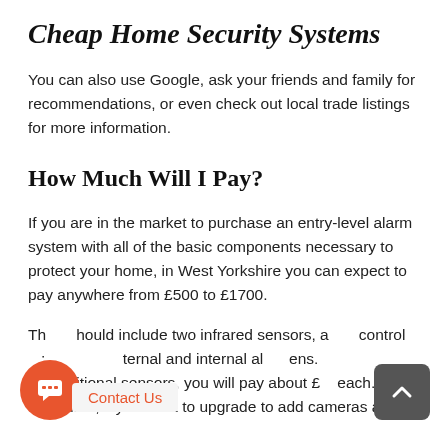Cheap Home Security Systems
You can also use Google, ask your friends and family for recommendations, or even check out local trade listings for more information.
How Much Will I Pay?
If you are in the market to purchase an entry-level alarm system with all of the basic components necessary to protect your home, in West Yorkshire you can expect to pay anywhere from £500 to £1700.
This should include two infrared sensors, a control panel; external and internal alarm sirens. For additional sensors, you will pay about £100 each. Of course, if you want to upgrade to add cameras and